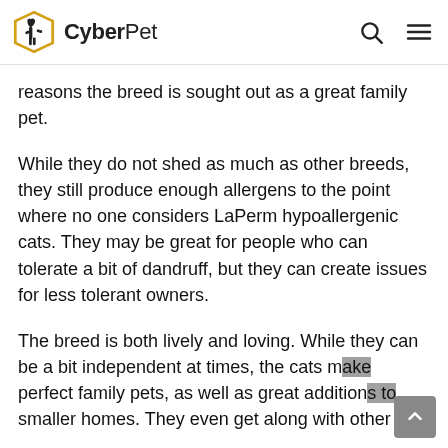CyberPet
reasons the breed is sought out as a great family pet.
While they do not shed as much as other breeds, they still produce enough allergens to the point where no one considers LaPerm hypoallergenic cats. They may be great for people who can tolerate a bit of dandruff, but they can create issues for less tolerant owners.
The breed is both lively and loving. While they can be a bit independent at times, the cats make perfect family pets, as well as great additions to smaller homes. They even get along with other